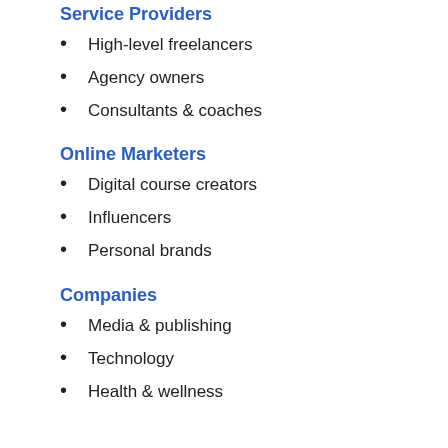Service Providers
High-level freelancers
Agency owners
Consultants & coaches
Online Marketers
Digital course creators
Influencers
Personal brands
Companies
Media & publishing
Technology
Health & wellness